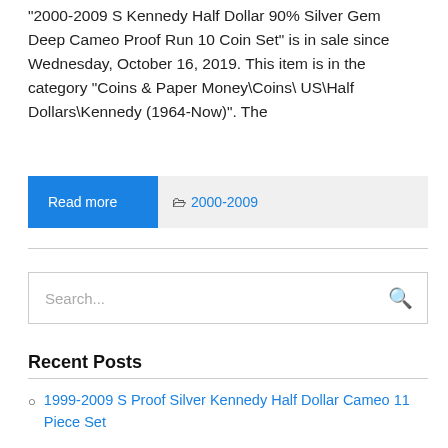"2000-2009 S Kennedy Half Dollar 90% Silver Gem Deep Cameo Proof Run 10 Coin Set" is in sale since Wednesday, October 16, 2019. This item is in the category "Coins & Paper Money\Coins\US\Half Dollars\Kennedy (1964-Now)". The
Read more   🗁 2000-2009
Search...
Recent Posts
1999-2009 S Proof Silver Kennedy Half Dollar Cameo 11 Piece Set